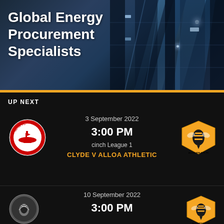[Figure (photo): Dark blue glass building facade with reflective windows and white light highlights]
Global Energy Procurement Specialists
UP NEXT
3 September 2022
3:00 PM
cinch League 1
CLYDE V ALLOA ATHLETIC
10 September 2022
3:00 PM